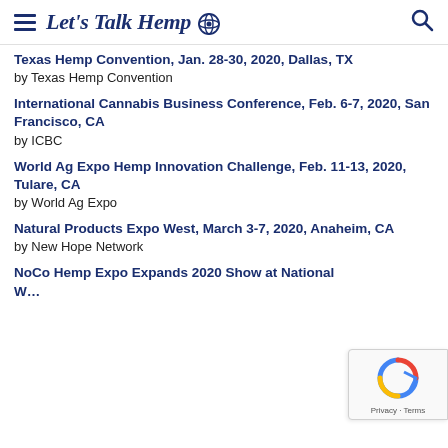Let's Talk Hemp
Texas Hemp Convention, Jan. 28-30, 2020, Dallas, TX
by Texas Hemp Convention
International Cannabis Business Conference, Feb. 6-7, 2020, San Francisco, CA
by ICBC
World Ag Expo Hemp Innovation Challenge, Feb. 11-13, 2020, Tulare, CA
by World Ag Expo
Natural Products Expo West, March 3-7, 2020, Anaheim, CA
by New Hope Network
NoCo Hemp Expo Expands 2020 Show at National W…